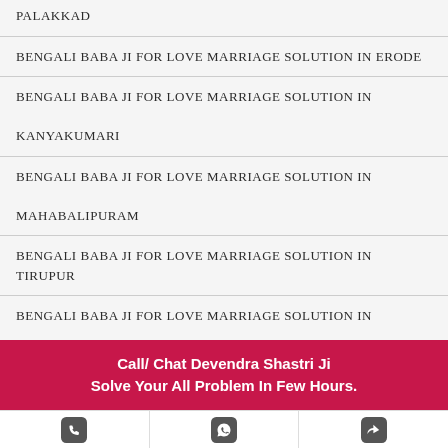PALAKKAD
BENGALI BABA JI FOR LOVE MARRIAGE SOLUTION IN ERODE
BENGALI BABA JI FOR LOVE MARRIAGE SOLUTION IN KANYAKUMARI
BENGALI BABA JI FOR LOVE MARRIAGE SOLUTION IN MAHABALIPURAM
BENGALI BABA JI FOR LOVE MARRIAGE SOLUTION IN TIRUPUR
BENGALI BABA JI FOR LOVE MARRIAGE SOLUTION IN PORTBLAIR
BENGALI BABA JI FOR LOVE MARRIAGE SOLUTION IN
Call/ Chat Devendra Shastri Ji
Solve Your All Problem In Few Hours.
Phone | WhatsApp | Share